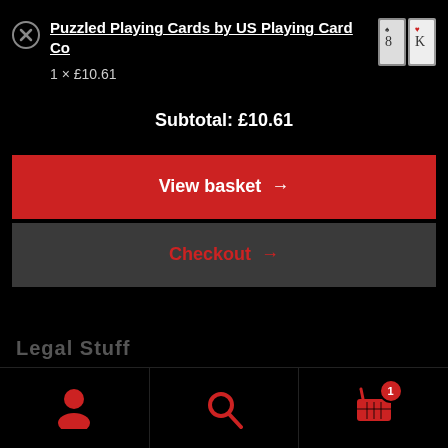Puzzled Playing Cards by US Playing Card Co
1 × £10.61
Subtotal: £10.61
View basket →
Checkout →
Legal Stuff
[Figure (screenshot): Product thumbnail showing playing card puzzle box]